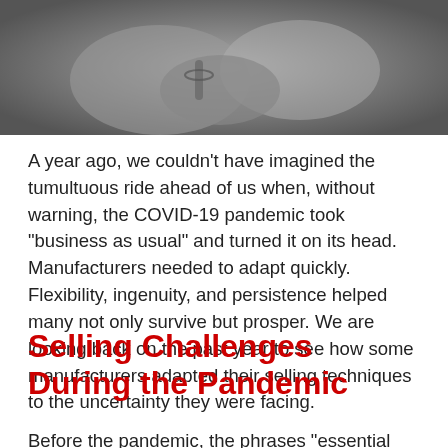[Figure (photo): Black and white close-up photo of hands, appears to show a handshake or clasped hands with a bracelet visible]
A year ago, we couldn't have imagined the tumultuous ride ahead of us when, without warning, the COVID-19 pandemic took “business as usual” and turned it on its head. Manufacturers needed to adapt quickly. Flexibility, ingenuity, and persistence helped many not only survive but prosper. We are looking back on the past year to see how some manufacturers adapted their selling techniques to the uncertainty they were facing.
Selling Challenges During the Pandemic
Before the pandemic, the phrases “essential business”